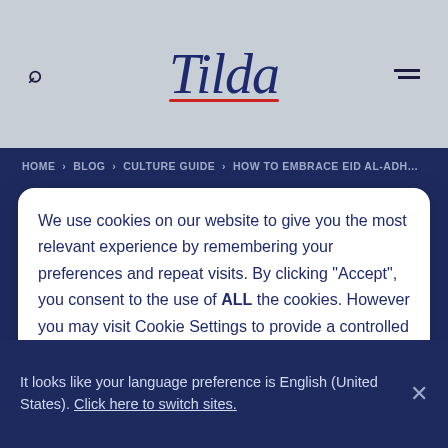Tilda
HOME > BLOG > CULTURE GUIDE > HOW TO EMBRACE EID AL-ADHA'S FEAST
We use cookies on our website to give you the most relevant experience by remembering your preferences and repeat visits. By clicking “Accept”, you consent to the use of ALL the cookies. However you may visit Cookie Settings to provide a controlled consent.
Cookie settings  ACCEPT
OF SACRIFICE
It looks like your language preference is English (United States). Click here to switch sites.